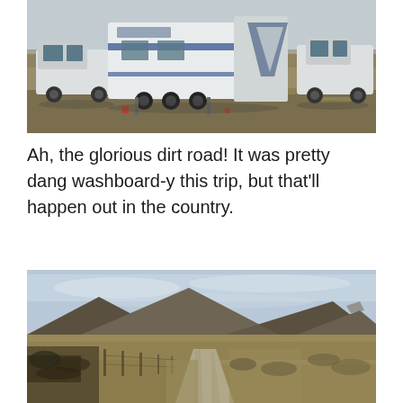[Figure (photo): RVs and fifth-wheel trailers with pickup trucks parked in an open dry grassland/high desert setting. White and blue Voltage brand fifth-wheel trailers visible along with white pickup trucks.]
Ah, the glorious dirt road! It was pretty dang washboard-y this trip, but that'll happen out in the country.
[Figure (photo): A winding dirt/gravel road through high desert hills with dry golden-brown grasses, dark shrubs, rolling mountains in the background under a partly cloudy sky. Fence posts visible along the road.]